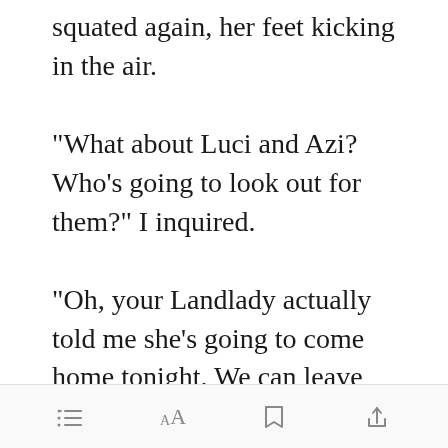squated again, her feet kicking in the air.
"What about Luci and Azi? Who's going to look out for them?" I inquired.
"Oh, your Landlady actually told me she's going to come home tonight. We can leave the two with her. I do hoped she don't mind," she shrugged. Looked like she already
[Figure (screenshot): Green 'Open in app' button overlay]
Toolbar with list, font size (AA), bookmark, and share icons